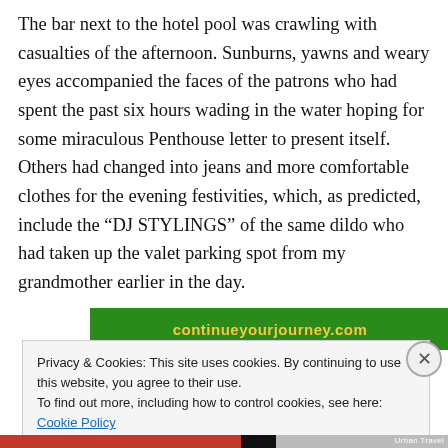The bar next to the hotel pool was crawling with casualties of the afternoon. Sunburns, yawns and weary eyes accompanied the faces of the patrons who had spent the past six hours wading in the water hoping for some miraculous Penthouse letter to present itself. Others had changed into jeans and more comfortable clothes for the evening festivities, which, as predicted, include the “DJ STYLINGS” of the same dildo who had taken up the valet parking spot from my grandmother earlier in the day.
[Figure (screenshot): Green banner with yellow text (partially obscured)]
Privacy & Cookies: This site uses cookies. By continuing to use this website, you agree to their use.
To find out more, including how to control cookies, see here: Cookie Policy
Close and accept